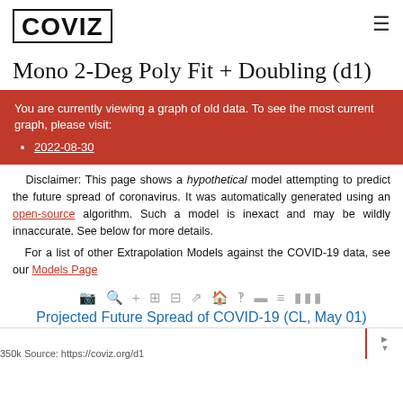COVIZ
Mono 2-Deg Poly Fit + Doubling (d1)
You are currently viewing a graph of old data. To see the most current graph, please visit:
2022-08-30
Disclaimer: This page shows a hypothetical model attempting to predict the future spread of coronavirus. It was automatically generated using an open-source algorithm. Such a model is inexact and may be wildly innaccurate. See below for more details.
For a list of other Extrapolation Models against the COVID-19 data, see our Models Page
[Figure (other): Toolbar with chart interaction icons]
Projected Future Spread of COVID-19 (CL, May 01)
350k Source: https://coviz.org/d1